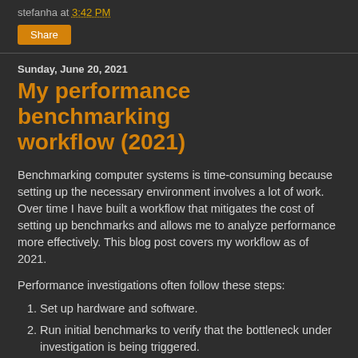stefanha at 3:42 PM
Share
Sunday, June 20, 2021
My performance benchmarking workflow (2021)
Benchmarking computer systems is time-consuming because setting up the necessary environment involves a lot of work. Over time I have built a workflow that mitigates the cost of setting up benchmarks and allows me to analyze performance more effectively. This blog post covers my workflow as of 2021.
Performance investigations often follow these steps:
Set up hardware and software.
Run initial benchmarks to verify that the bottleneck under investigation is being triggered.
Collect a full set of benchmark results and monitoring